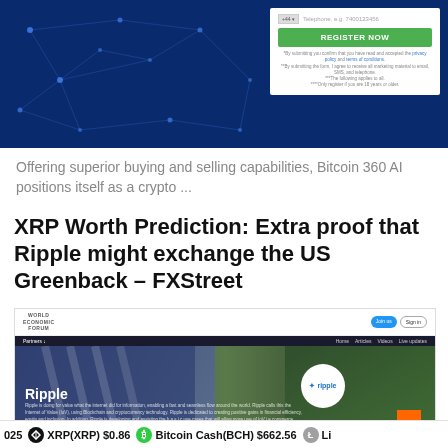[Figure (screenshot): Blue gradient banner with network/node lines on the left and a registration form on the right with REGISTER NOW green button]
Offering superior buying and selling capabilities, Bitcoin 360 AI positions itself as a crypto ...
XRP Worth Prediction: Extra proof that Ripple might exchange the US Greenback – FXStreet
[Figure (screenshot): World Economic Forum website screenshot showing Ripple partner page with building and trees background, Ripple logo circle, and text about Ripple doing for value what the internet did for information]
025  XRP(XRP) $0.86  Bitcoin Cash(BCH) $662.56  Li...